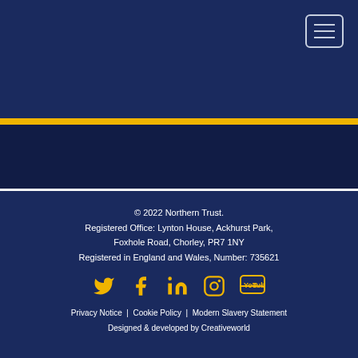© 2022 Northern Trust.
Registered Office: Lynton House, Ackhurst Park,
Foxhole Road, Chorley, PR7 1NY
Registered in England and Wales, Number: 735621
[Figure (infographic): Social media icons: Twitter, Facebook, LinkedIn, Instagram, YouTube in gold color]
Privacy Notice | Cookie Policy | Modern Slavery Statement
Designed & developed by Creativeworld